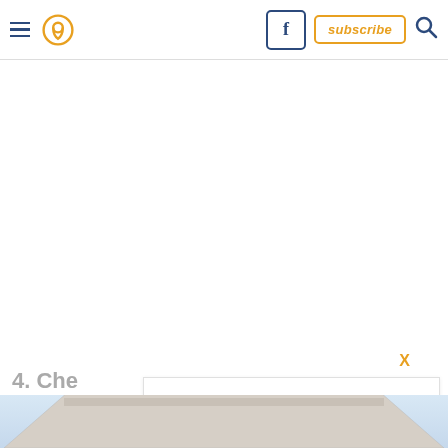Navigation header with hamburger menu, pin icon, Facebook button, subscribe button, and search icon
[Figure (screenshot): White advertisement/blank space area]
X
4. Che
[Figure (screenshot): Ad banner with play button, RecordNumber brand logo, checkmarks for In-store shopping, Curbside pickup, Delivery, and a navigation/directions icon]
[Figure (photo): Partial view of a building exterior with triangular roof/pediment, blue-gray sky background]